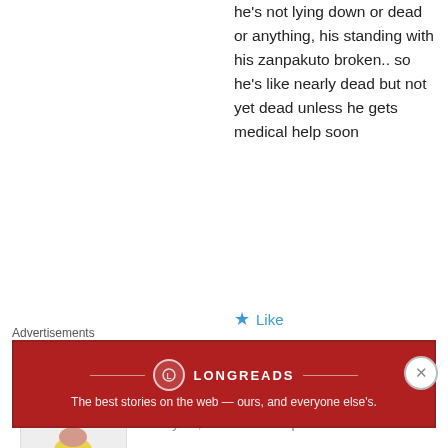he's not lying down or dead or anything, his standing with his zanpakuto broken.. so he's like nearly dead but not yet dead unless he gets medical help soon
Like
Ryan
July 25, 2012 at 12:47 pm
i think kenpachi will die here..think about it, hes facing the leader no way hes going to win, AND hes always talking about an “hhonorable death”. I think Kubo will finally give him one. As for
Advertisements
[Figure (infographic): Longreads advertisement banner — dark red background with logo and tagline 'The best stories on the web — ours, and everyone else's.']